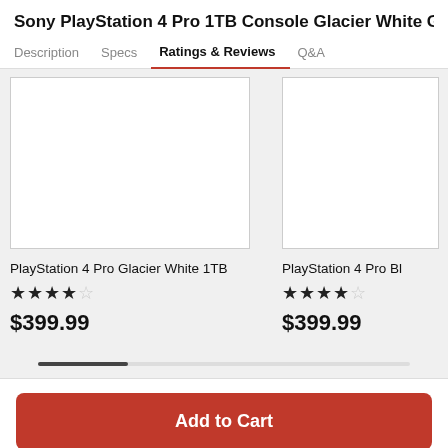Sony PlayStation 4 Pro 1TB Console Glacier White Go
Description  Specs  Ratings & Reviews  Q&A
[Figure (screenshot): Product card showing PlayStation 4 Pro Glacier White 1TB with an empty white image box, 4-and-a-half star rating, and price $399.99]
[Figure (screenshot): Partial product card showing PlayStation 4 Pro Bl... with an empty white image box, 4-and-a-half star rating, and price $399.99]
Add to Cart